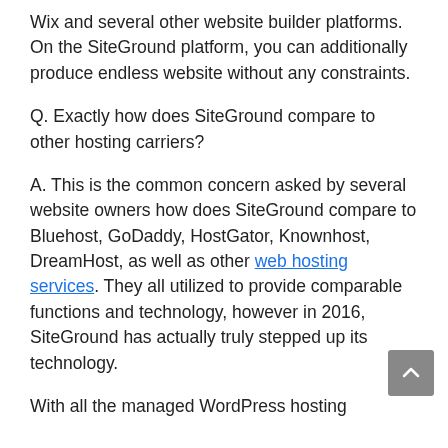Wix and several other website builder platforms. On the SiteGround platform, you can additionally produce endless website without any constraints.
Q. Exactly how does SiteGround compare to other hosting carriers?
A. This is the common concern asked by several website owners how does SiteGround compare to Bluehost, GoDaddy, HostGator, Knownhost, DreamHost, as well as other web hosting services. They all utilized to provide comparable functions and technology, however in 2016, SiteGround has actually truly stepped up its technology.
With all the managed WordPress hosting